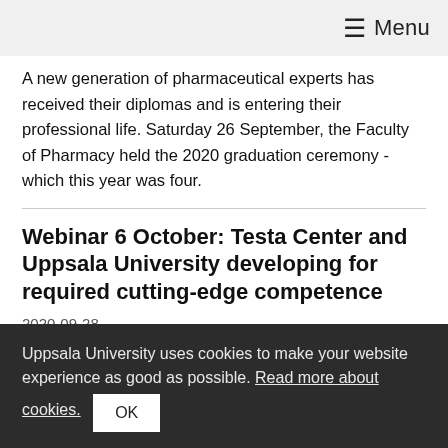≡ Menu
A new generation of pharmaceutical experts has received their diplomas and is entering their professional life. Saturday 26 September, the Faculty of Pharmacy held the 2020 graduation ceremony - which this year was four.
Webinar 6 October: Testa Center and Uppsala University developing for required cutting-edge competence
2020-09-28
At Testa Center, students at Uppsala University receive training in bioprocess- and drug development, while researchers get access to modern equipment in the
Uppsala University uses cookies to make your website experience as good as possible. Read more about cookies.